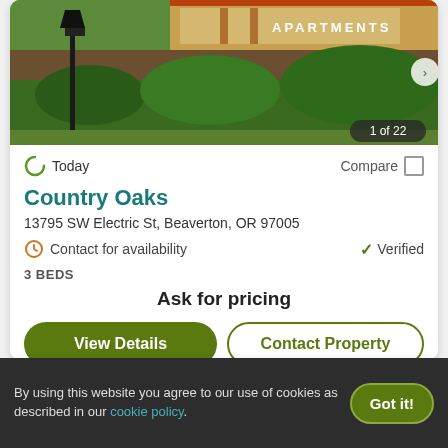[Figure (photo): Exterior photo of Country Oaks apartment complex showing landscaping, sign, and lamp post. Image counter shows 1 of 22.]
Today
Compare
Country Oaks
13795 SW Electric St, Beaverton, OR 97005
Contact for availability
Verified
3 BEDS
Ask for pricing
View Details
Contact Property
By using this website you agree to our use of cookies as described in our cookie policy.
Got it!